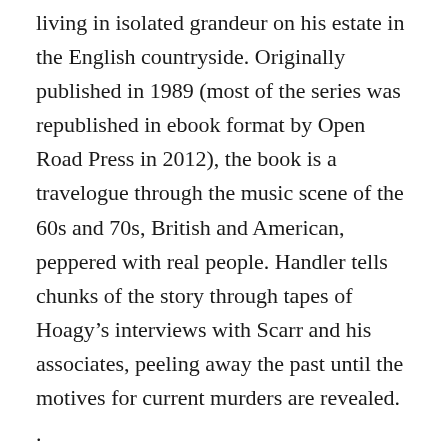living in isolated grandeur on his estate in the English countryside. Originally published in 1989 (most of the series was republished in ebook format by Open Road Press in 2012), the book is a travelogue through the music scene of the 60s and 70s, British and American, peppered with real people. Handler tells chunks of the story through tapes of Hoagy’s interviews with Scarr and his associates, peeling away the past until the motives for current murders are revealed.
.
Somehow I missed this series completely when it was first published, but I’m enjoying it now: I identify with both writers and basset hound owners.
.